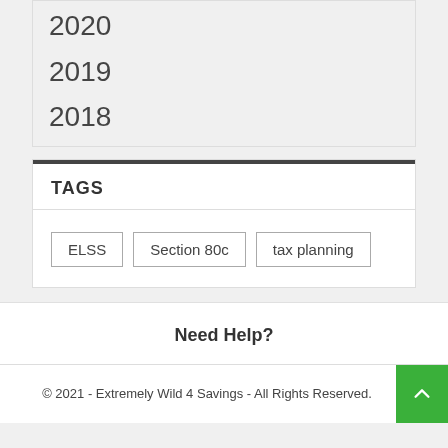2020
2019
2018
TAGS
ELSS
Section 80c
tax planning
Need Help?
© 2021 - Extremely Wild 4 Savings - All Rights Reserved.